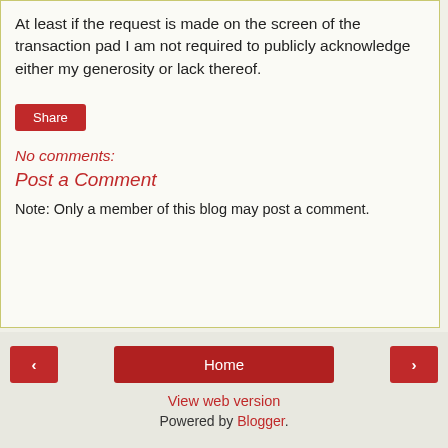At least if the request is made on the screen of the transaction pad I am not required to publicly acknowledge either my generosity or lack thereof.
[Figure (other): Red 'Share' button]
No comments:
Post a Comment
Note: Only a member of this blog may post a comment.
[Figure (other): Navigation row with left arrow button, Home button, and right arrow button]
View web version
Powered by Blogger.